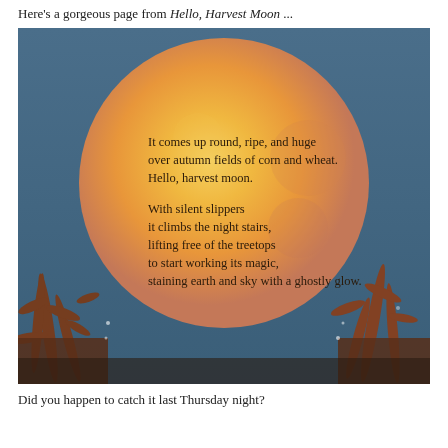Here's a gorgeous page from Hello, Harvest Moon ...
[Figure (illustration): A large golden harvest moon rising over a dark blue-grey night sky, with silhouettes of autumn corn and wheat stalks in the foreground. Overlaid on the moon is poem text reading: 'It comes up round, ripe, and huge / over autumn fields of corn and wheat. / Hello, harvest moon. // With silent slippers / it climbs the night stairs, / lifting free of the treetops / to start working its magic, / staining earth and sky with a ghostly glow.']
Did you happen to catch it last Thursday night?